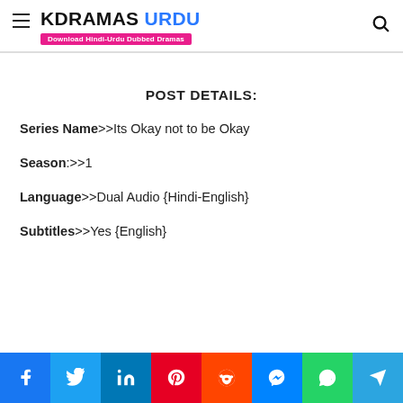KDRAMAS URDU — Download Hindi-Urdu Dubbed Dramas
POST DETAILS:
Series Name>>Its Okay not to be Okay
Season:>>1
Language>>Dual Audio {Hindi-English}
Subtitles>>Yes {English}
Social share buttons: Facebook, Twitter, LinkedIn, Pinterest, Reddit, Messenger, WhatsApp, Telegram